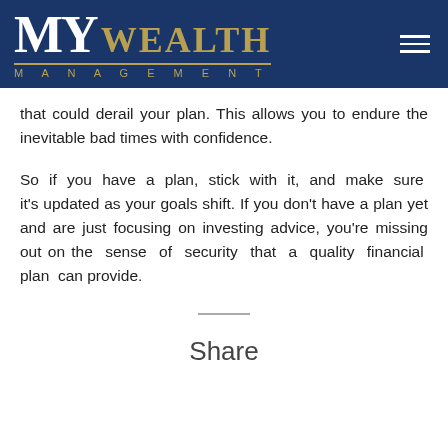MY WEALTH MANAGEMENT
that could derail your plan. This allows you to endure the inevitable bad times with confidence.
So if you have a plan, stick with it, and make sure it's updated as your goals shift. If you don't have a plan yet and are just focusing on investing advice, you're missing out on the sense of security that a quality financial plan can provide.
Share